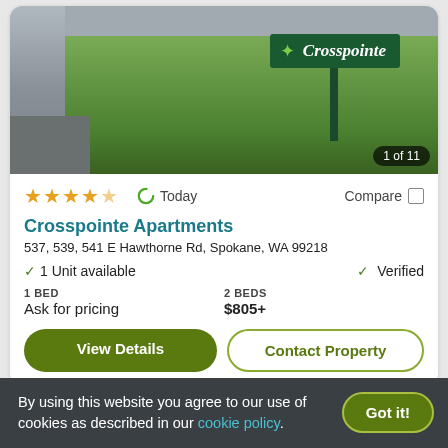[Figure (photo): Exterior photo of Crosspointe Apartments showing green sign with logo and name 'Crosspointe', grass and landscaping. Image counter '1 of 11' shown bottom right.]
★★★★★ (4 stars) | Today | Compare
Crosspointe Apartments
537, 539, 541 E Hawthorne Rd, Spokane, WA 99218
✓ 1 Unit available   ✓ Verified
1 BED
Ask for pricing

2 BEDS
$805+
View Details   Contact Property
[Figure (photo): Partial view of a second apartment listing card below, mostly obscured.]
By using this website you agree to our use of cookies as described in our cookie policy.
Got it!